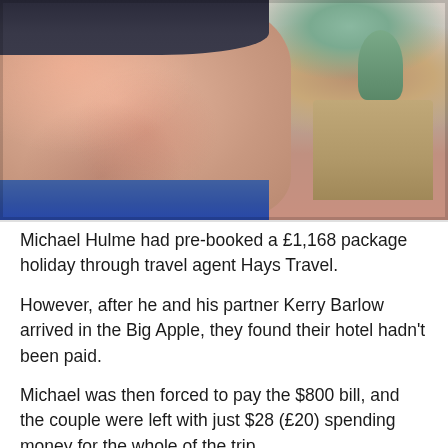[Figure (photo): Close-up selfie of a man wearing a dark beanie hat and blue jacket, with the Statue of Liberty visible in the background against a grey winter sky.]
Michael Hulme had pre-booked a £1,168 package holiday through travel agent Hays Travel.
However, after he and his partner Kerry Barlow arrived in the Big Apple, they found their hotel hadn't been paid.
Michael was then forced to pay the $800 bill, and the couple were left with just $28 (£20) spending money for the whole of the trip.